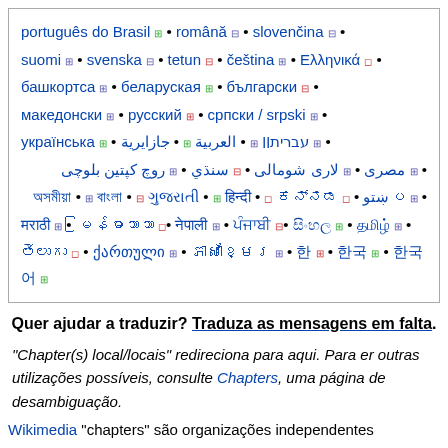português do Brasil • română • slovenčina • suomi • svenska • tetun • čeština • Ελληνικά • башkортса • беларуская • български • македонски • русский • српски / srpski • українська • עברית • العربية • جازايرية • مصرى • لاری شومالی • سنڌي • روچ کپتین بلوچی • پښتو • [various scripts] • [various scripts] • ქართული • [various scripts] • 한 • 한국 • 한국어
Quer ajudar a traduzir? Traduza as mensagens em falta.
"Chapter(s) local/locais" redireciona para aqui. Para er outras utilizações possíveis, consulte Chapters, uma página de desambiguação.
Wikimedia "chapters" são organizações independentes